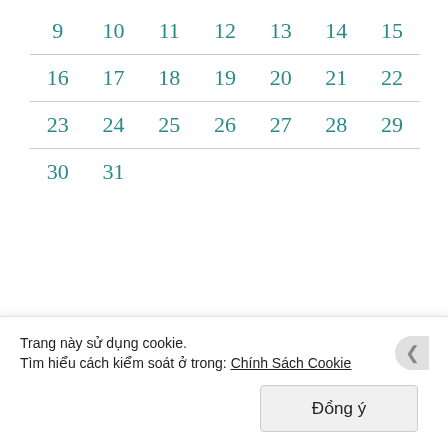| 9 | 10 | 11 | 12 | 13 | 14 | 15 |
| 16 | 17 | 18 | 19 | 20 | 21 | 22 |
| 23 | 24 | 25 | 26 | 27 | 28 | 29 |
| 30 | 31 |  |  |  |  |  |
« Th12   Th2 »
Chuyên mục
Trang này sử dụng cookie.
Tìm hiểu cách kiểm soát ở trong: Chính Sách Cookie
Đồng ý